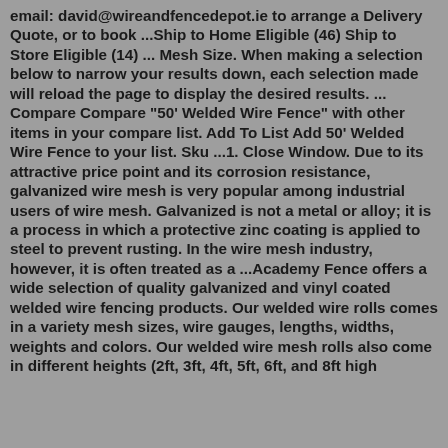email: david@wireandfencedepot.ie to arrange a Delivery Quote, or to book ...Ship to Home Eligible (46) Ship to Store Eligible (14) ... Mesh Size. When making a selection below to narrow your results down, each selection made will reload the page to display the desired results. ... Compare Compare "50' Welded Wire Fence" with other items in your compare list. Add To List Add 50' Welded Wire Fence to your list. Sku ...1. Close Window. Due to its attractive price point and its corrosion resistance, galvanized wire mesh is very popular among industrial users of wire mesh. Galvanized is not a metal or alloy; it is a process in which a protective zinc coating is applied to steel to prevent rusting. In the wire mesh industry, however, it is often treated as a ...Academy Fence offers a wide selection of quality galvanized and vinyl coated welded wire fencing products. Our welded wire rolls comes in a variety mesh sizes, wire gauges, lengths, widths, weights and colors. Our welded wire mesh rolls also come in different heights (2ft, 3ft, 4ft, 5ft, 6ft, and 8ft high